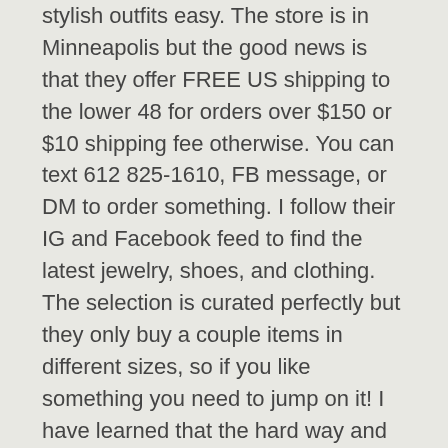stylish outfits easy. The store is in Minneapolis but the good news is that they offer FREE US shipping to the lower 48 for orders over $150 or $10 shipping fee otherwise. You can text 612 825-1610, FB message, or DM to order something. I follow their IG and Facebook feed to find the latest jewelry, shoes, and clothing. The selection is curated perfectly but they only buy a couple items in different sizes, so if you like something you need to jump on it! I have learned that the hard way and missed out on some really cute and unique pieces.
I am sure there are other small businesses that I have left off the list above, so I will update this post as I